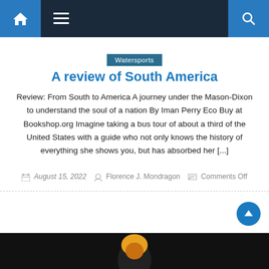Navigation bar with home icon, menu icon, and search icon
Watersports
A review of South America
Review: From South to America A journey under the Mason-Dixon to understand the soul of a nation By Iman Perry Eco Buy at Bookshop.org Imagine taking a bus tour of about a third of the United States with a guide who not only knows the history of everything she shows you, but has absorbed her [...]
August 15, 2022   Florence J. Mondragon   Comments Off
[Figure (photo): Dark background photo with a person with yellow/orange hair visible from the bottom of the page]